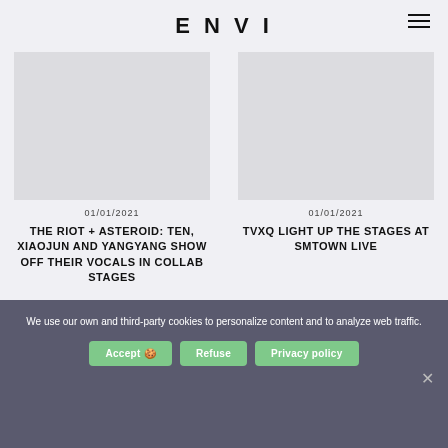ENVI
[Figure (other): Gray placeholder image for article 1]
01/01/2021
THE RIOT + ASTEROID: TEN, XIAOJUN AND YANGYANG SHOW OFF THEIR VOCALS IN COLLAB STAGES
[Figure (other): Gray placeholder image for article 2]
01/01/2021
TVXQ LIGHT UP THE STAGES AT SMTOWN LIVE
We use our own and third-party cookies to personalize content and to analyze web traffic.
Accept 🍪   Refuse   Privacy policy